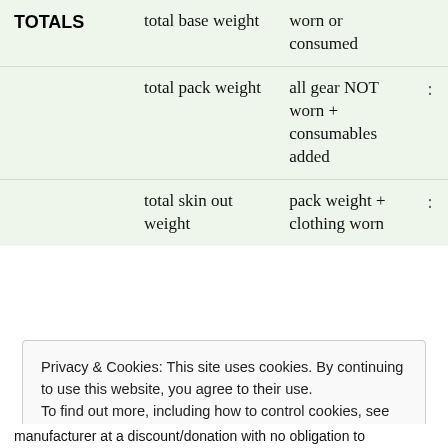|  | Definition | Equals |  |
| --- | --- | --- | --- |
| TOTALS | total base weight | worn or consumed |  |
|  | total pack weight | all gear NOT worn + consumables added | : |
|  | total skin out weight | pack weight + clothing worn | : |
Privacy & Cookies: This site uses cookies. By continuing to use this website, you agree to their use.
To find out more, including how to control cookies, see here: Cookie Policy
manufacturer at a discount/donation with no obligation to